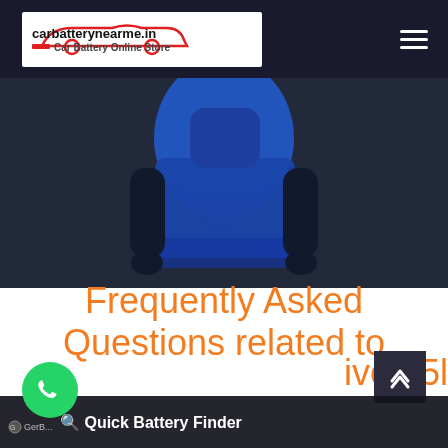carbatterynearme.in — Car Battery Online Store
[Figure (photo): Hero image showing a person in a blue uniform/jacket against a dark background, partially cropped]
Frequently Asked Questions related to [Car Battery for Maruti Baleno Petrol Ative 35l]
Quick Battery Finder